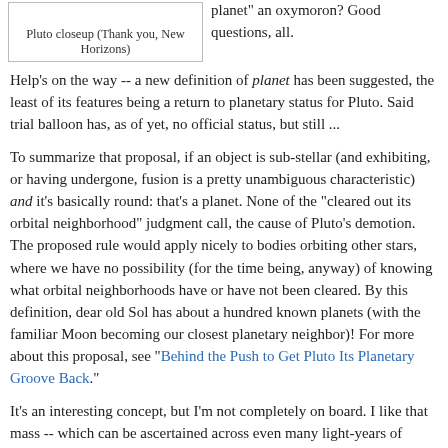[Figure (photo): Pluto closeup image (blank/white box shown), credited to New Horizons spacecraft]
Pluto closeup (Thank you, New Horizons)
planet" an oxymoron? Good questions, all.
Help's on the way -- a new definition of planet has been suggested, the least of its features being a return to planetary status for Pluto. Said trial balloon has, as of yet, no official status, but still ...
To summarize that proposal, if an object is sub-stellar (and exhibiting, or having undergone, fusion is a pretty unambiguous characteristic) and it's basically round: that's a planet. None of the "cleared out its orbital neighborhood" judgment call, the cause of Pluto's demotion. The proposed rule would apply nicely to bodies orbiting other stars, where we have no possibility (for the time being, anyway) of knowing what orbital neighborhoods have or have not been cleared. By this definition, dear old Sol has about a hundred known planets (with the familiar Moon becoming our closest planetary neighbor)! For more about this proposal, see "Behind the Push to Get Pluto Its Planetary Groove Back."
It's an interesting concept, but I'm not completely on board. I like that mass -- which can be ascertained across even many light-years of distance -- is the determining factor:
Anything massive enough will collapse to be basically round.